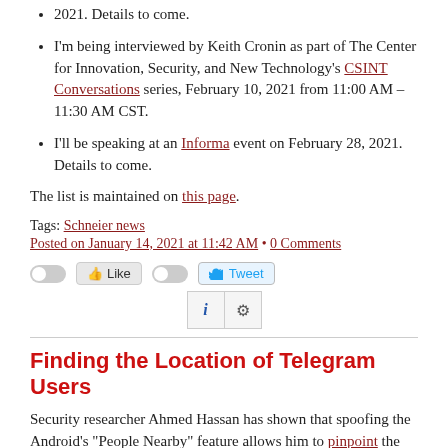2021. Details to come.
I'm being interviewed by Keith Cronin as part of The Center for Innovation, Security, and New Technology's CSINT Conversations series, February 10, 2021 from 11:00 AM – 11:30 AM CST.
I'll be speaking at an Informa event on February 28, 2021. Details to come.
The list is maintained on this page.
Tags: Schneier news
Posted on January 14, 2021 at 11:42 AM • 0 Comments
[Figure (other): Social sharing buttons: Like toggle and button, Tweet toggle and button, info (i) and gear icon buttons]
Finding the Location of Telegram Users
Security researcher Ahmed Hassan has shown that spoofing the Android's "People Nearby" feature allows him to pinpoint the physical location of Telegram users: